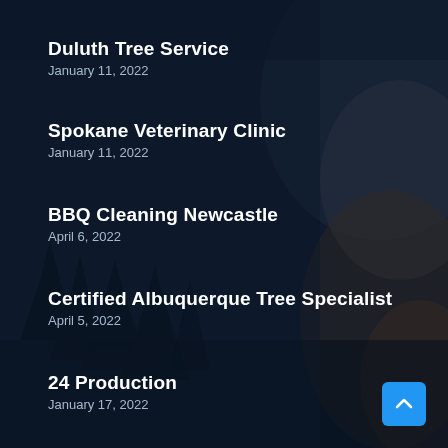Duluth Tree Service
January 11, 2022
Spokane Veterinary Clinic
January 11, 2022
BBQ Cleaning Newcastle
April 6, 2022
Certified Albuquerque Tree Specialist
April 5, 2022
24 Production
January 17, 2022